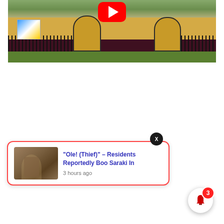[Figure (photo): A YouTube video thumbnail showing a building with yellow/cream walls and dark brown lower band, arched gates, iron fence, green grass, with a red YouTube play button overlaid at the top center]
X
“Ole! (Thief)” – Residents Reportedly Boo Saraki In
3 hours ago